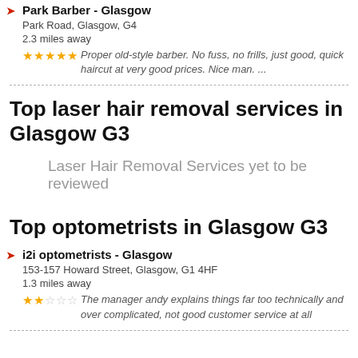Park Barber - Glasgow
Park Road, Glasgow, G4
2.3 miles away
★★★★☆ Proper old-style barber. No fuss, no frills, just good, quick haircut at very good prices. Nice man. ...
Top laser hair removal services in Glasgow G3
Laser Hair Removal Services yet to be reviewed
Top optometrists in Glasgow G3
i2i optometrists - Glasgow
153-157 Howard Street, Glasgow, G1 4HF
1.3 miles away
★★☆☆☆ The manager andy explains things far too technically and over complicated, not good customer service at all